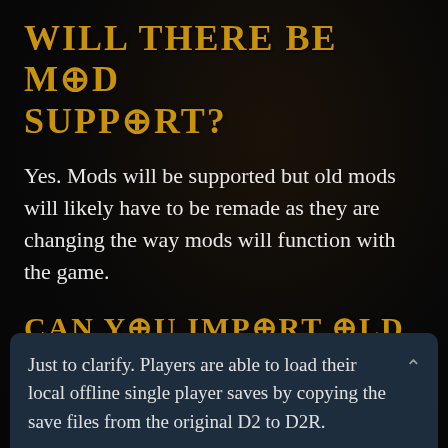Will There Be Mod Support?
Yes. Mods will be supported but old mods will likely have to be remade as they are changing the way mods will function with the game.
Can You Import Old Diablo 2 Saves Files?
Yes, this has been confirmed. This applies to offline characters only.
Just to clarify. Players are able to load their local offline single player saves by copying the save files from the original D2 to D2R.